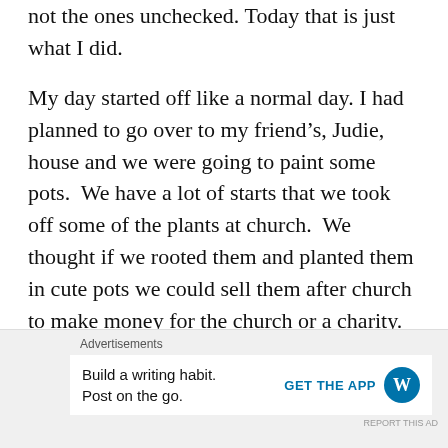not the ones unchecked. Today that is just what I did.
My day started off like a normal day. I had planned to go over to my friend's, Judie, house and we were going to paint some pots.  We have a lot of starts that we took off some of the plants at church.  We thought if we rooted them and planted them in cute pots we could sell them after church to make money for the church or a charity. Anyway there I go again getting side tracked.  I had just got over there and my son called to say they had forgotten
Advertisements
Build a writing habit.
Post on the go.
GET THE APP